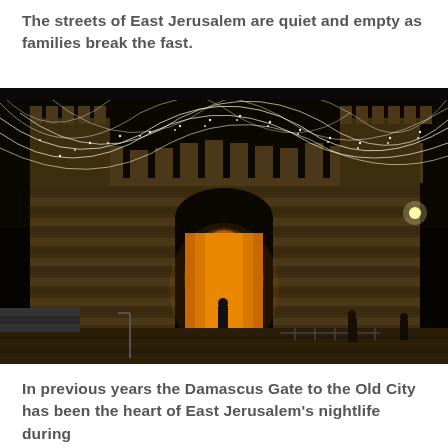The streets of East Jerusalem are quiet and empty as families break the fast.
[Figure (photo): Damascus Gate of the Old City of Jerusalem at night, lit with strings of white fairy lights draped across the front of the ancient stone walls. The archway glows with warm orange-amber light from inside. The plaza in front is largely empty with only a few silhouetted figures visible.]
In previous years the Damascus Gate to the Old City has been the heart of East Jerusalem's nightlife during